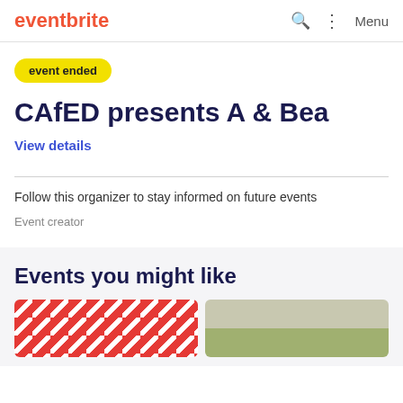eventbrite
event ended
CAfED presents A & Bea
View details
Follow this organizer to stay informed on future events
Event creator
Events you might like
[Figure (photo): Two thumbnail images of upcoming events partially visible at the bottom of the page]